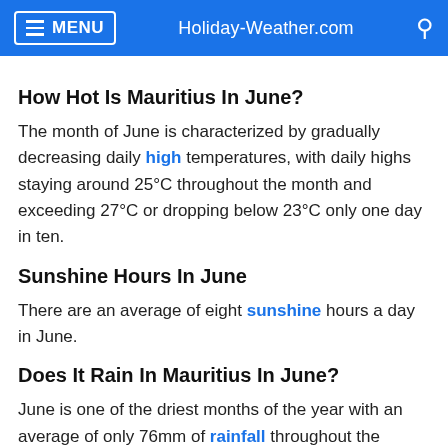MENU  Holiday-Weather.com
How Hot Is Mauritius In June?
The month of June is characterized by gradually decreasing daily high temperatures, with daily highs staying around 25°C throughout the month and exceeding 27°C or dropping below 23°C only one day in ten.
Sunshine Hours In June
There are an average of eight sunshine hours a day in June.
Does It Rain In Mauritius In June?
June is one of the driest months of the year with an average of only 76mm of rainfall throughout the month, compared to February which has...